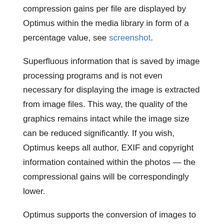compression gains per file are displayed by Optimus within the media library in form of a percentage value, see screenshot.
Superfluous information that is saved by image processing programs and is not even necessary for displaying the image is extracted from image files. This way, the quality of the graphics remains intact while the image size can be reduced significantly. If you wish, Optimus keeps all author, EXIF and copyright information contained within the photos — the compressional gains will be correspondingly lower.
Optimus supports the conversion of images to the new WebP image format.
It is recommended to use the WordPress Cache Enabler plugin to integrate the converted WebP images.